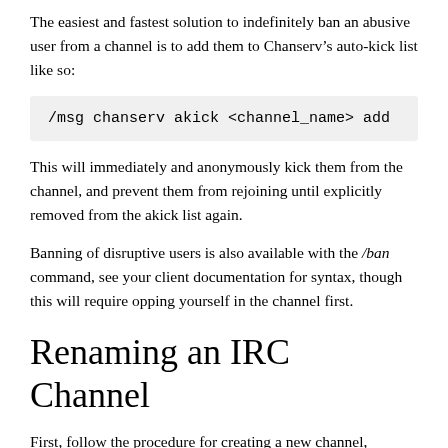The easiest and fastest solution to indefinitely ban an abusive user from a channel is to add them to Chanserv’s auto-kick list like so:
/msg chanserv akick <channel_name> add
This will immediately and anonymously kick them from the channel, and prevent them from rejoining until explicitly removed from the akick list again.
Banning of disruptive users is also available with the /ban command, see your client documentation for syntax, though this will require opping yourself in the channel first.
Renaming an IRC Channel
First, follow the procedure for creating a new channel, including submitting the appropriate changes to Gerrit